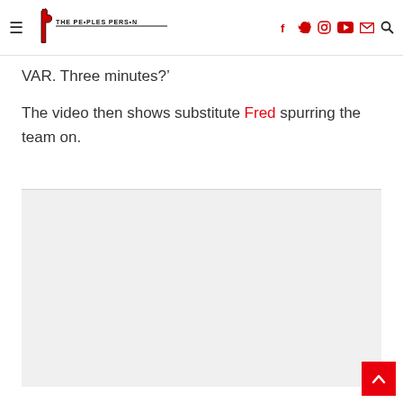The Peoples Person
VAR. Three minutes?'
The video then shows substitute Fred spurring the team on.
[Figure (other): Embedded media or advertisement placeholder — light grey rectangle]